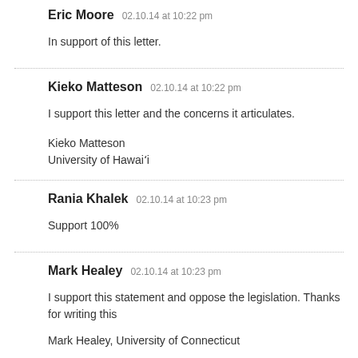Eric Moore   02.10.14 at 10:22 pm
In support of this letter.
Kieko Matteson   02.10.14 at 10:22 pm
I support this letter and the concerns it articulates.
Kieko Matteson
University of Hawaiʻi
Rania Khalek   02.10.14 at 10:23 pm
Support 100%
Mark Healey   02.10.14 at 10:23 pm
I support this statement and oppose the legislation. Thanks for writing this
Mark Healey, University of Connecticut